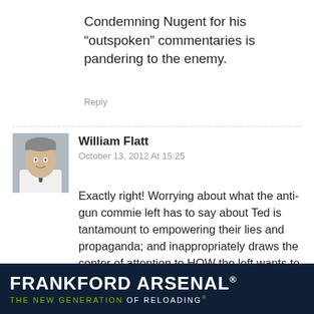Condemning Nugent for his “outspoken” commentaries is pandering to the enemy.
Reply
William Flatt
October 13, 2012 At 15:25
Exactly right! Worrying about what the anti-gun commie left has to say about Ted is tantamount to empowering their lies and propaganda; and inappropriately draws the center of attention to HOW the left wants to portray us. This article's premise essentially creates a self-fulfilling prophecy at worst, and at the least reinforces incorrect thinking among RKBA activists. Activists should be exposing the mentality of the ... s off the
[Figure (logo): Frankford Arsenal advertisement banner: dark navy background with large white bold text 'FRANKFORD ARSENAL' and green tagline 'THE NEW GENERATION OF RELOADING']